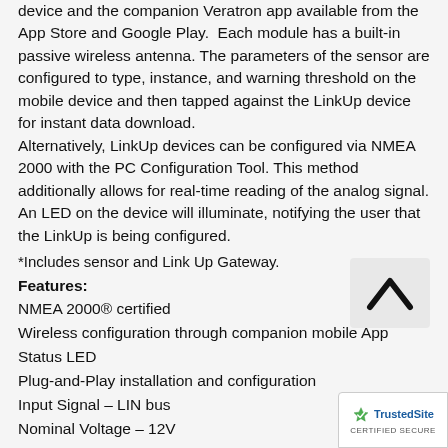device and the companion Veratron app available from the App Store and Google Play. Each module has a built-in passive wireless antenna. The parameters of the sensor are configured to type, instance, and warning threshold on the mobile device and then tapped against the LinkUp device for instant data download.
Alternatively, LinkUp devices can be configured via NMEA 2000 with the PC Configuration Tool. This method additionally allows for real-time reading of the analog signal. An LED on the device will illuminate, notifying the user that the LinkUp is being configured.
*Includes sensor and Link Up Gateway.
Features:
NMEA 2000® certified
Wireless configuration through companion mobile App
Status LED
Plug-and-Play installation and configuration
Input Signal – LIN bus
Nominal Voltage – 12V